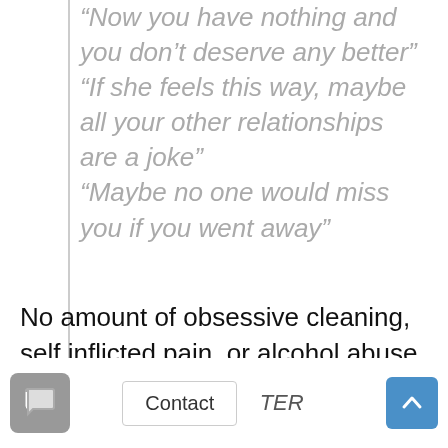“Now you have nothing and you don’t deserve any better” “If she feels this way, maybe all your other relationships are a joke” “Maybe no one would miss you if you went away”
No amount of obsessive cleaning, self inflicted pain, or alcohol abuse would silence this noise.
WRITER
The